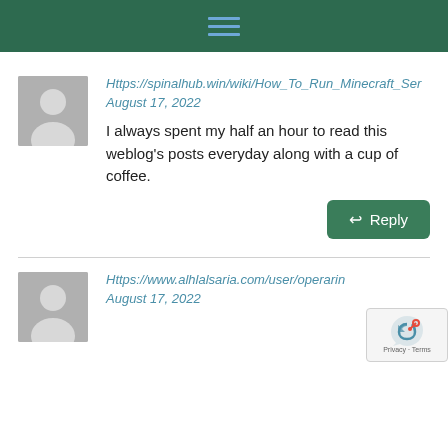[Figure (screenshot): Dark green header bar with hamburger menu icon (three blue horizontal lines) centered]
Https://spinalhub.win/wiki/How_To_Run_Minecraft_Ser
August 17, 2022
I always spent my half an hour to read this weblog's posts everyday along with a cup of coffee.
Reply
Https://www.alhlalsaria.com/user/operarin
August 17, 2022